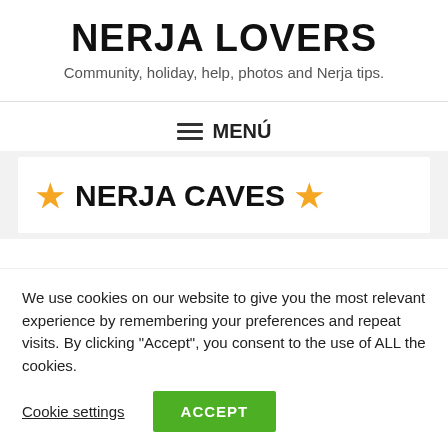NERJA LOVERS
Community, holiday, help, photos and Nerja tips.
≡ MENÚ
★ NERJA CAVES ★
We use cookies on our website to give you the most relevant experience by remembering your preferences and repeat visits. By clicking "Accept", you consent to the use of ALL the cookies.
Cookie settings
ACCEPT